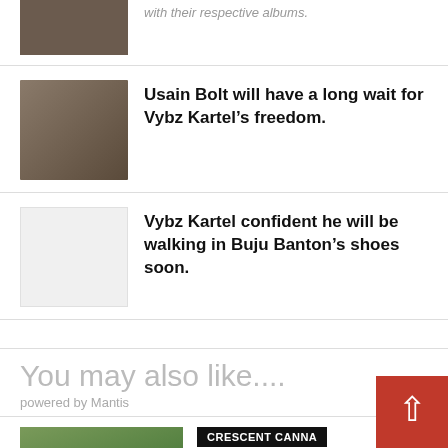[Figure (photo): Two people photo thumbnail at top]
with their respective albums.
[Figure (photo): Usain Bolt and Vybz Kartel photo thumbnail]
Usain Bolt will have a long wait for Vybz Kartel’s freedom.
[Figure (photo): Blank/white thumbnail placeholder]
Vybz Kartel confident he will be walking in Buju Banton’s shoes soon.
You may also like....
powered by Mantis
[Figure (photo): Person outdoors photo thumbnail]
CRESCENT CANNA
How Topical CBD Works And Why It’s Effective